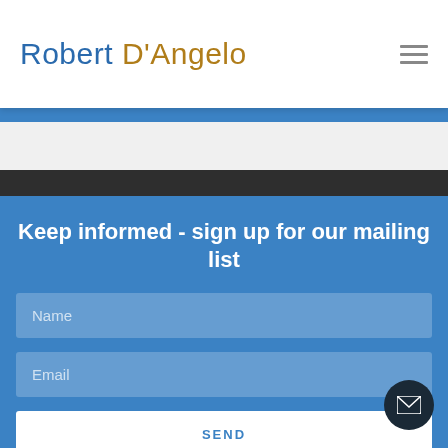Robert D'Angelo
Keep informed - sign up for our mailing list
Name
Email
SEND